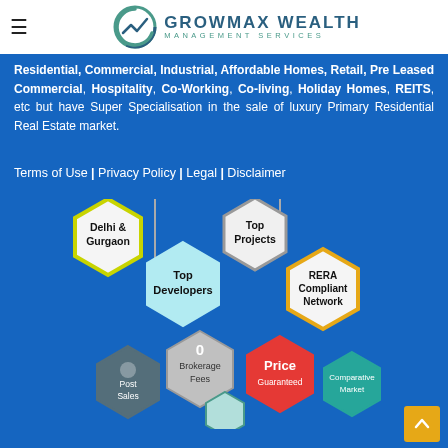Growmax Wealth Management Services
Residential, Commercial, Industrial, Affordable Homes, Retail, Pre Leased Commercial, Hospitality, Co-Working, Co-living, Holiday Homes, REITS, etc but have Super Specialisation in the sale of luxury Primary Residential Real Estate market.
Terms of Use | Privacy Policy | Legal | Disclaimer
[Figure (infographic): Hexagonal infographic showing Delhi & Gurgaon, Top Projects, Top Developers, RERA Compliant Network, 0 Brokerage Fees, Price Guaranteed, Comparative Market, Post Sales hexagons connected on a blue background]